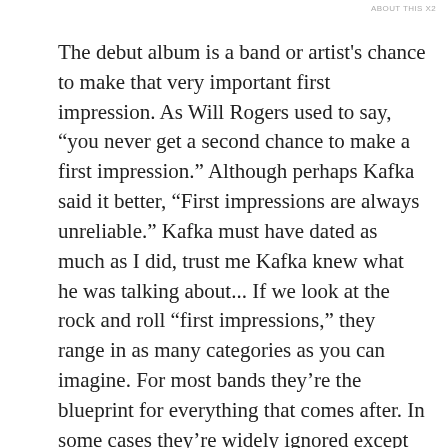ABOUT THIS X2
The debut album is a band or artist's chance to make that very important first impression. As Will Rogers used to say, “you never get a second chance to make a first impression.” Although perhaps Kafka said it better, “First impressions are always unreliable.” Kafka must have dated as much as I did, trust me Kafka knew what he was talking about... If we look at the rock and roll “first impressions,” they range in as many categories as you can imagine. For most bands they’re the blueprint for everything that comes after. In some cases they’re widely ignored except for a few hard core fans and the critics. Many of those debut albums that were ignored get some retrospective appreciation and in some cases belated commercial success. Occasionally the first record a band or artist…